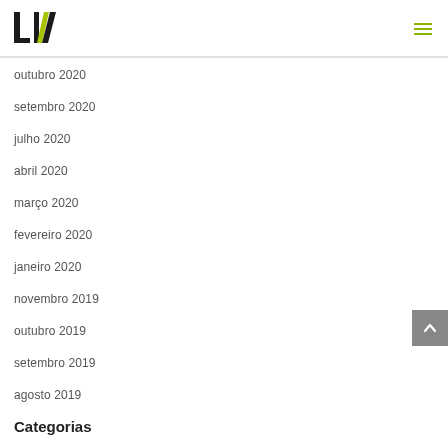LIV
outubro 2020
setembro 2020
julho 2020
abril 2020
março 2020
fevereiro 2020
janeiro 2020
novembro 2019
outubro 2019
setembro 2019
agosto 2019
Categorias